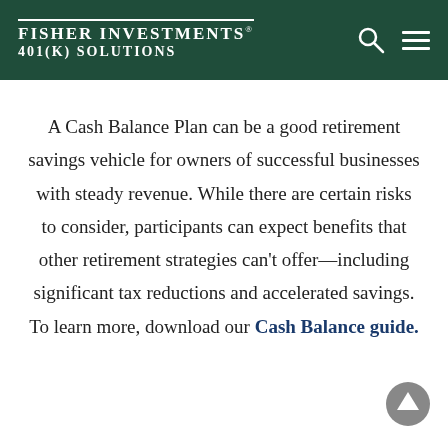Fisher Investments® 401(k) Solutions
A Cash Balance Plan can be a good retirement savings vehicle for owners of successful businesses with steady revenue. While there are certain risks to consider, participants can expect benefits that other retirement strategies can't offer—including significant tax reductions and accelerated savings. To learn more, download our Cash Balance guide.